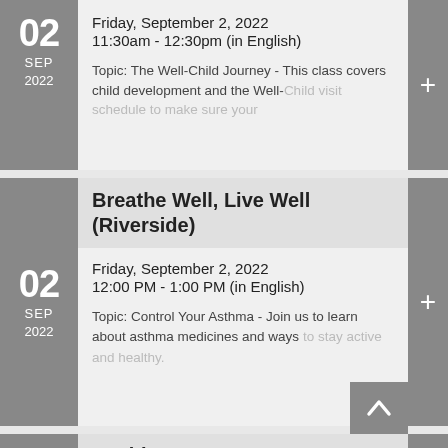Friday, September 2, 2022
11:30am - 12:30pm (in English)

Topic: The Well-Child Journey - This class covers child development and the Well-Child visit schedule to make sure your
Breathe Well, Live Well (Riverside)
Friday, September 2, 2022
12:00 PM - 1:00 PM (in English)

Topic: Control Your Asthma - Join us to learn about asthma medicines and ways to stay active and healthy.
Healthy Heart : Get